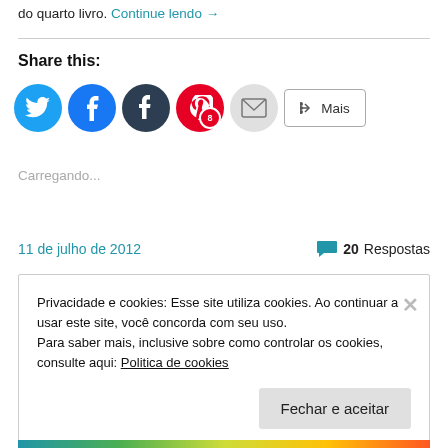do quarto livro. Continue lendo →
Share this:
[Figure (other): Social share buttons: Twitter, Facebook, Tumblr, Pinterest (badge 8), Email, and Mais button]
Carregando...
11 de julho de 2012
20 Respostas
Privacidade e cookies: Esse site utiliza cookies. Ao continuar a usar este site, você concorda com seu uso.
Para saber mais, inclusive sobre como controlar os cookies, consulte aqui: Politica de cookies
Fechar e aceitar